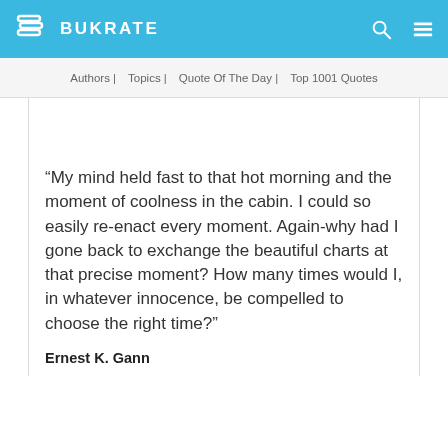BUKRATE
Authors | Topics | Quote Of The Day | Top 1001 Quotes
“My mind held fast to that hot morning and the moment of coolness in the cabin. I could so easily re-enact every moment. Again-why had I gone back to exchange the beautiful charts at that precise moment? How many times would I, in whatever innocence, be compelled to choose the right time?”
Ernest K. Gann